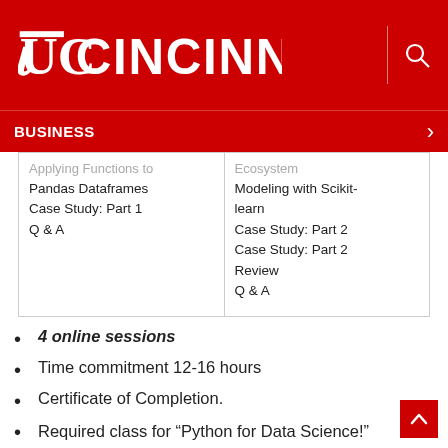[Figure (logo): University of Cincinnati logo — UC seal and CINCINNATI wordmark in white on red background]
BUSINESS
Applying Functions to Pandas Dataframes
Case Study: Part 1
Q & A
Ecosystem Modeling with Scikit-learn
Case Study: Part 2
Case Study: Part 2 Review
Q & A
4 online sessions
Time commitment 12-16 hours
Certificate of Completion.
Required class for “Python for Data Science!” Certificate of Competency